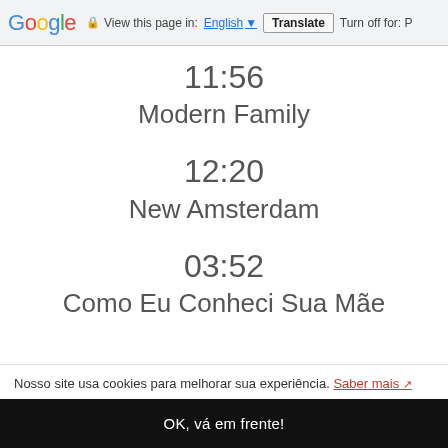Google  View this page in: English  Translate  Turn off for: P
11:56
Modern Family
12:20
New Amsterdam
03:52
Como Eu Conheci Sua Mãe
Nosso site usa cookies para melhorar sua experiência. Saber mais
OK, vá em frente!